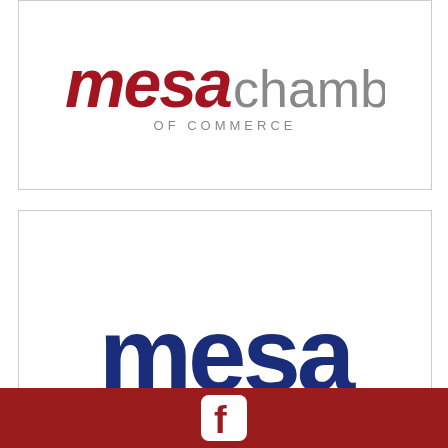[Figure (logo): Mesa Chamber of Commerce logo — stylized 'mesachambEr OF COMMERCE' text in red/maroon]
[Figure (logo): Mesa Public Schools logo — 'mesa' in large navy blue text over an open book with yellow pages and red spine line, with 'PUBLIC SCHOOLS' in navy below]
[Figure (logo): Facebook social media icon — white 'f' on rounded dark red/maroon square background, inside a dark red footer bar]